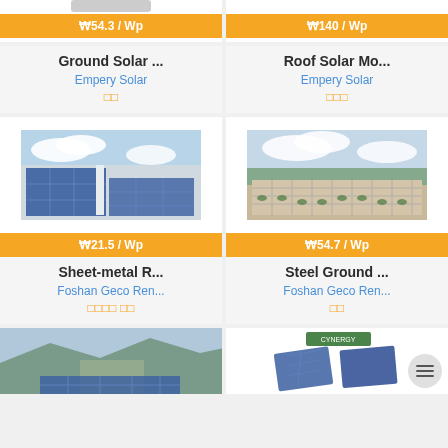[Figure (photo): Partial product image at top of page - Ground Solar mounting product from Empery Solar]
[Figure (photo): Partial product image at top of page - Roof Solar mounting product from Empery Solar]
₩54.3 / Wp
₩140 / Wp
Ground Solar ...
Roof Solar Mo...
Empery Solar
Empery Solar
□□
□□□
[Figure (photo): Rooftop solar panel installation with blue sky background - Sheet-metal R... product]
[Figure (photo): Large ground-mounted solar field installation - Steel Ground ... product]
₩21.5 / Wp
₩54.7 / Wp
Sheet-metal R...
Steel Ground ...
Foshan Geco Ren...
Foshan Geco Ren...
□□□□ □□
□□
[Figure (photo): Partial bottom card - mountain landscape with solar installation]
[Figure (photo): Partial bottom card - solar panels with Cynergy logo]